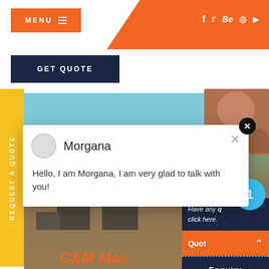MENU
[Figure (screenshot): Website navigation header with orange MENU button on left and social media icons (f, Twitter, Be, Pinterest, YouTube) on right against orange diagonal background]
[Figure (screenshot): Dark navy GET QUOTE button]
[Figure (screenshot): Yellow vertical REQUEST A QUOTE tab on left side]
[Figure (screenshot): Chat popup with avatar for Morgana saying: Hello, I am Morgana, I am very glad to talk with you!]
[Figure (photo): Construction/mining site with industrial equipment, steel structures, and C&M Mac text branding]
[Figure (screenshot): Right sidebar with notification circle showing 1, Have any / click here panel, Quot block with arrows, Enquiry button, and drobilkalm text]